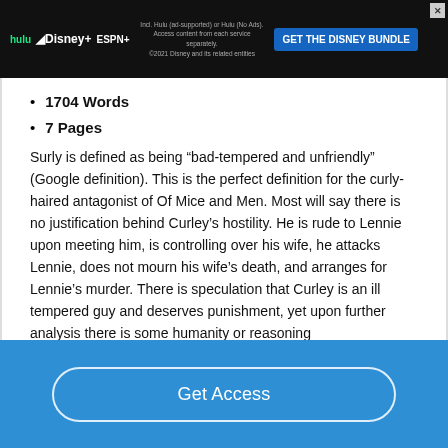[Figure (screenshot): Hulu Disney+ ESPN+ advertisement banner with 'GET THE DISNEY BUNDLE' call to action and small print about Hulu ad-supported or no ads plan.]
1704 Words
7 Pages
Surly is defined as being “bad-tempered and unfriendly” (Google definition). This is the perfect definition for the curly-haired antagonist of Of Mice and Men. Most will say there is no justification behind Curley’s hostility. He is rude to Lennie upon meeting him, is controlling over his wife, he attacks Lennie, does not mourn his wife’s death, and arranges for Lennie’s murder. There is speculation that Curley is an ill tempered guy and deserves punishment, yet upon further analysis there is some humanity or reasoning
[Figure (screenshot): Blue 'Get Access' call-to-action button at the bottom of the page]